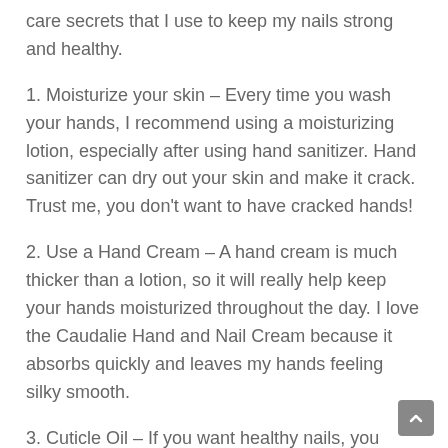care secrets that I use to keep my nails strong and healthy.
1. Moisturize your skin – Every time you wash your hands, I recommend using a moisturizing lotion, especially after using hand sanitizer. Hand sanitizer can dry out your skin and make it crack. Trust me, you don't want to have cracked hands!
2. Use a Hand Cream – A hand cream is much thicker than a lotion, so it will really help keep your hands moisturized throughout the day. I love the Caudalie Hand and Nail Cream because it absorbs quickly and leaves my hands feeling silky smooth.
3. Cuticle Oil – If you want healthy nails, you need to take care of your cuticles. Your cuticles are there for a reason! They protect the new growth of your fingernails from bacteria, dust, and other particles that can cause infection. When you see hangnails or ragged cuticles, this is a sign that they are dry and in need of